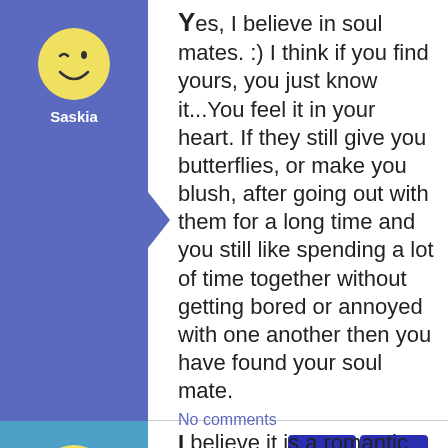Yes, I believe in soul mates. :) I think if you find yours, you just know it...You feel it in your heart. If they still give you butterflies, or make you blush, after going out with them for a long time and you still like spending a lot of time together without getting bored or annoyed with one another then you have found your soul mate.
No comments
Saskia
0
jls
I believe it is a romantic notion that could cloud your judgement and cost you a ...